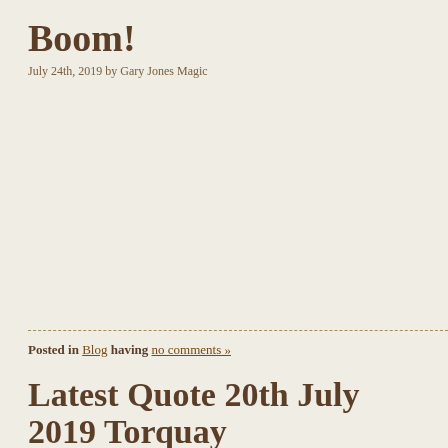Boom!
July 24th, 2019 by Gary Jones Magic
Posted in Blog having no comments »
Latest Quote 20th July 2019 Torquay
July 23rd, 2019 by Gary Jones Magic
Hi Gary,